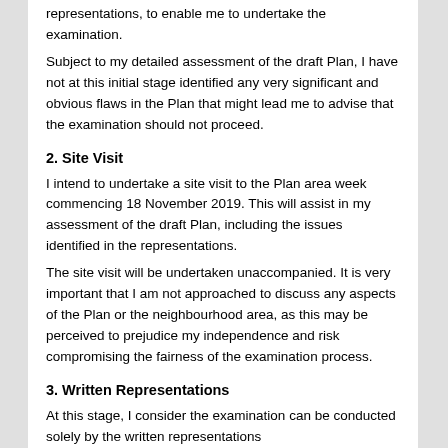representations, to enable me to undertake the examination.
Subject to my detailed assessment of the draft Plan, I have not at this initial stage identified any very significant and obvious flaws in the Plan that might lead me to advise that the examination should not proceed.
2. Site Visit
I intend to undertake a site visit to the Plan area week commencing 18 November 2019. This will assist in my assessment of the draft Plan, including the issues identified in the representations.
The site visit will be undertaken unaccompanied. It is very important that I am not approached to discuss any aspects of the Plan or the neighbourhood area, as this may be perceived to prejudice my independence and risk compromising the fairness of the examination process.
3. Written Representations
At this stage, I consider the examination can be conducted solely by the written representations